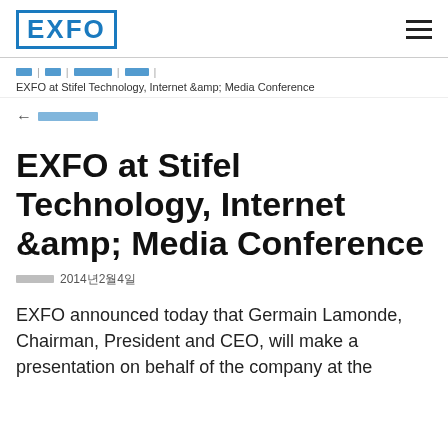EXFO
EXFO at Stifel Technology, Internet &amp; Media Conference
← 뒤로가기
EXFO at Stifel Technology, Internet &amp; Media Conference
게시일: 2014년2월4일
EXFO announced today that Germain Lamonde, Chairman, President and CEO, will make a presentation on behalf of the company at the